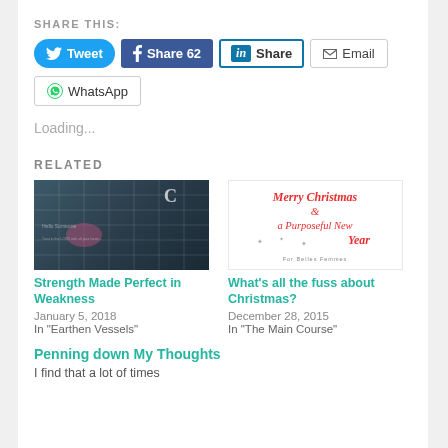SHARE THIS:
[Figure (screenshot): Social share buttons: Tweet, Share 62, Share (LinkedIn), Email, WhatsApp]
Loading...
RELATED
[Figure (photo): Dark photo with grid overlay, website screenshot thumbnail]
Strength Made Perfect in Weakness
January 5, 2018
In "Earthen Vessels"
[Figure (photo): White card with red handwritten text: Merry Christmas & a Purposeful New Year]
What's all the fuss about Christmas?
December 28, 2015
In "The Main Course"
Penning down My Thoughts
I find that a lot of times